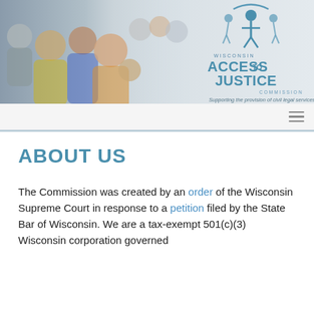[Figure (photo): Header banner with group photo of diverse people on the left and Wisconsin Access to Justice Commission logo on the right. Tagline reads: Supporting the provision of civil legal services]
ABOUT US
The Commission was created by an order of the Wisconsin Supreme Court in response to a petition filed by the State Bar of Wisconsin. We are a tax-exempt 501(c)(3) Wisconsin corporation governed